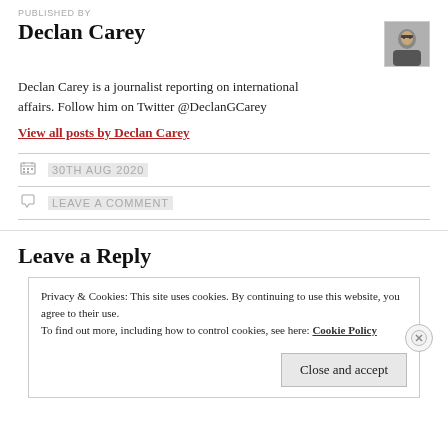PUBLISHED BY
Declan Carey
[Figure (photo): Headshot photo of Declan Carey, a man wearing glasses and a dark shirt, smiling.]
Declan Carey is a journalist reporting on international affairs. Follow him on Twitter @DeclanGCarey
View all posts by Declan Carey
30TH AUG 2020
LEAVE A COMMENT
Leave a Reply
Privacy & Cookies: This site uses cookies. By continuing to use this website, you agree to their use.
To find out more, including how to control cookies, see here: Cookie Policy
Close and accept